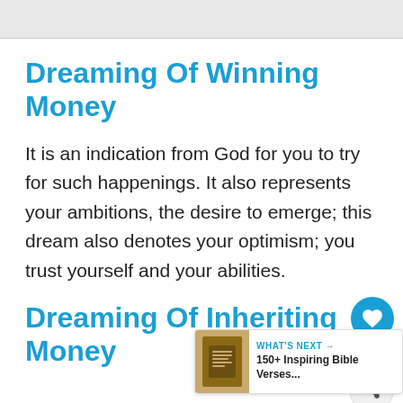Dreaming Of Winning Money
It is an indication from God for you to try for such happenings. It also represents your ambitions, the desire to emerge; this dream also denotes your optimism; you trust yourself and your abilities.
Dreaming Of Inheriting Money